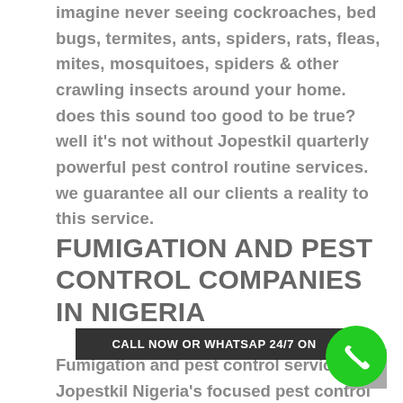imagine never seeing cockroaches, bed bugs, termites, ants, spiders, rats, fleas, mites, mosquitoes, spiders & other crawling insects around your home. does this sound too good to be true? well it's not without Jopestkil quarterly powerful pest control routine services. we guarantee all our clients a reality to this service.
FUMIGATION AND PEST CONTROL COMPANIES IN NIGERIA
Fumigation and pest control services Jopestkil Nigeria's focused pest control in...